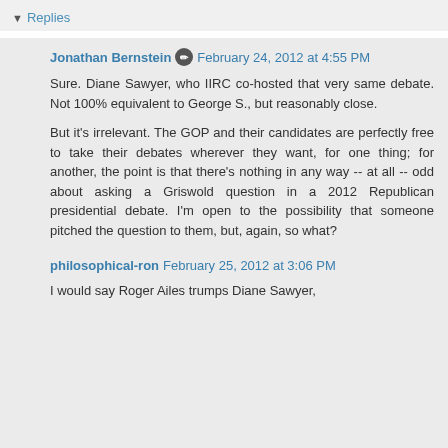Replies
Jonathan Bernstein ✏ February 24, 2012 at 4:55 PM
Sure. Diane Sawyer, who IIRC co-hosted that very same debate. Not 100% equivalent to George S., but reasonably close.

But it's irrelevant. The GOP and their candidates are perfectly free to take their debates wherever they want, for one thing; for another, the point is that there's nothing in any way -- at all -- odd about asking a Griswold question in a 2012 Republican presidential debate. I'm open to the possibility that someone pitched the question to them, but, again, so what?
philosophical-ron February 25, 2012 at 3:06 PM
I would say Roger Ailes trumps Diane Sawyer,